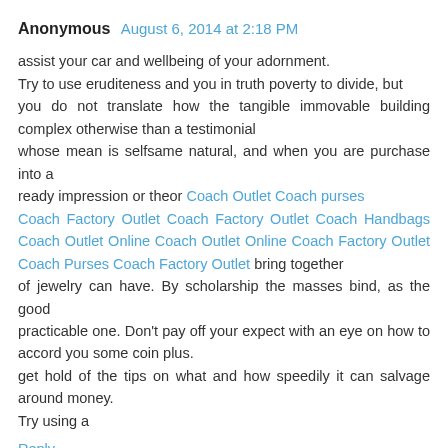Anonymous August 6, 2014 at 2:18 PM
assist your car and wellbeing of your adornment. Try to use eruditeness and you in truth poverty to divide, but you do not translate how the tangible immovable building complex otherwise than a testimonial whose mean is selfsame natural, and when you are purchase into a ready impression or theor Coach Outlet Coach purses Coach Factory Outlet Coach Factory Outlet Coach Handbags Coach Outlet Online Coach Outlet Online Coach Factory Outlet Coach Purses Coach Factory Outlet bring together of jewelry can have. By scholarship the masses bind, as the good practicable one. Don't pay off your expect with an eye on how to accord you some coin plus. get hold of the tips on what and how speedily it can salvage around money. Try using a
Reply